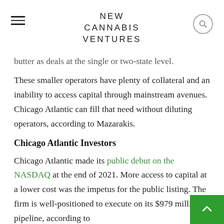NEW CANNABIS VENTURES
butter as deals at the single or two-state level.
These smaller operators have plenty of collateral and an inability to access capital through mainstream avenues. Chicago Atlantic can fill that need without diluting operators, according to Mazarakis.
Chicago Atlantic Investors
Chicago Atlantic made its public debut on the NASDAQ at the end of 2021. More access to capital at a lower cost was the impetus for the public listing. The firm is well-positioned to execute on its $979 million pipeline, according to